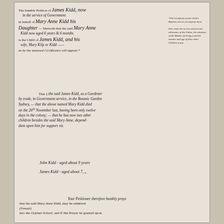The humble Petition of James Kidd, now in the service of Government in behalf of Mary Anne Kidd his Daughter — Sheweth that the said Mary Anne Kidd now aged 6 years & 6 months is the Child of James Kidd, and his wife, Mary Kilp or Kidd — as by the annexed Certificates will appear.*
*The Certificate of the Child's Baptism also to accompany them. Here state the service and present allowance of the Father, the situation of the Mother (if living;) and the number and age of their other Children if any.
That ‡ the said James Kidd, as a Gardener by trade, in Government service, in the Botanic Garden Sydney, — that the above named Mary Kidd died on the 26th November last, having been only twelve days in the colony; — that he has now two other children besides the said Mary Anne, dependent upon him for support viz.
John Kidd - aged about 9 years
James Kidd - aged about 7, „
Your Petitioner therefore humbly prays that the said Mary Anne Kidd, may be admitted (Female) into the Orphan School; and if this Prayer be granted upon...